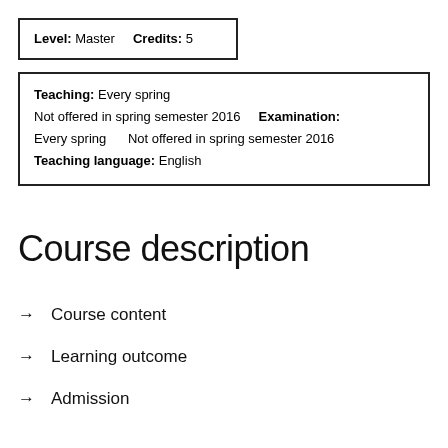| Level: Master    Credits:  5 |
| Teaching:  Every spring |
| Not offered in spring semester 2016    Examination: |
| Every spring      Not offered in spring semester 2016 |
| Teaching language:  English |
Course description
→  Course content
→  Learning outcome
→  Admission